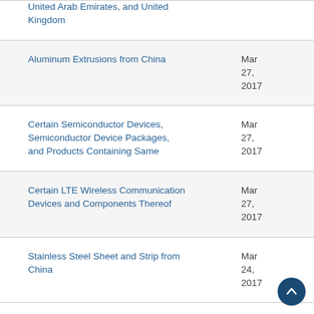| Case Name | Date |
| --- | --- |
| United Arab Emirates, and United Kingdom |  |
| Aluminum Extrusions from China | Mar 27, 2017 |
| Certain Semiconductor Devices, Semiconductor Device Packages, and Products Containing Same | Mar 27, 2017 |
| Certain LTE Wireless Communication Devices and Components Thereof | Mar 27, 2017 |
| Stainless Steel Sheet and Strip from China | Mar 24, 2017 |